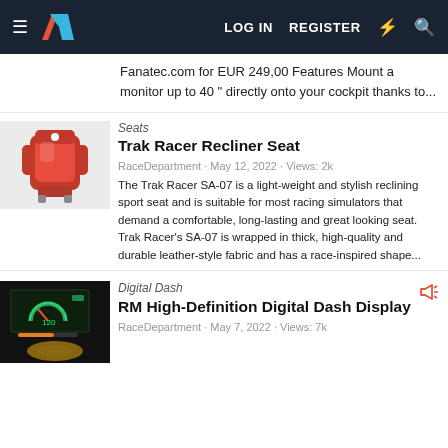LOG IN  REGISTER
Fanatec.com for EUR 249,00 Features Mount a monitor up to 40 " directly onto your cockpit thanks to...
Seats
Trak Racer Recliner Seat
RaceDepartment · May 12, 2022 · Views: 2k
The Trak Racer SA-07 is a light-weight and stylish reclining sport seat and is suitable for most racing simulators that demand a comfortable, long-lasting and great looking seat. Trak Racer's SA-07 is wrapped in thick, high-quality and durable leather-style fabric and has a race-inspired shape...
Digital Dash
RM High-Definition Digital Dash Display
RaceDepartment · May 7, 2022 · Views: 7k